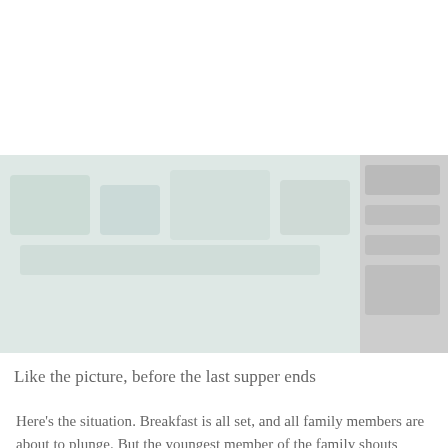[Figure (logo): Toonstory.in logo — three cartoon pea characters inside a green pea pod, with text 'TOONSTORY.IN' below in teal color. Hamburger menu icon and shopping cart icon (with 0) visible to the right.]
[Figure (photo): Blurred image of a meal/table setting, partially visible below the header.]
Like the picture, before the last supper ends
Here's the situation. Breakfast is all set, and all family members are about to plunge. But the youngest member of the family shouts loud, "wait – wait!! I need to take the picture and upload it to Facebook and Instagram!!". All of sudden